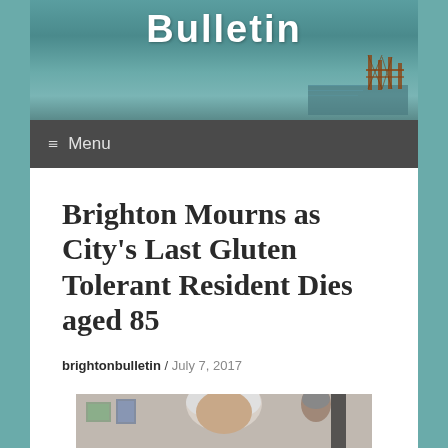[Figure (photo): Brighton Bulletin website header banner with stylized text 'Bulletin' and an image of a pier/waterfront in the background]
≡ Menu
Brighton Mourns as City's Last Gluten Tolerant Resident Dies aged 85
brightonbulletin / July 7, 2017
[Figure (photo): Photograph of an elderly person, showing white/grey hair, partial face visible, indoor setting with pictures on wall in background]